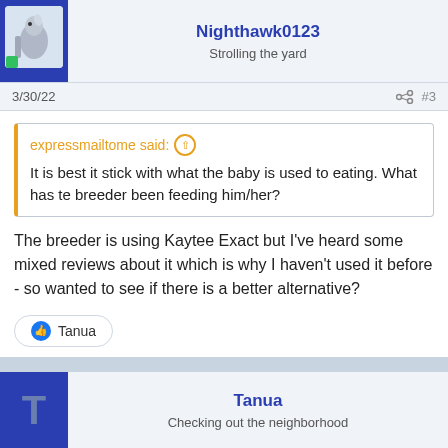[Figure (photo): User avatar photo of a bird (cockatiel) on a blue background with a chevron/triangle pointer at the bottom]
Nighthawk0123
Strolling the yard
3/30/22
#3
expressmailtome said: ↑
It is best it stick with what the baby is used to eating. What has te breeder been feeding him/her?
The breeder is using Kaytee Exact but I've heard some mixed reviews about it which is why I haven't used it before - so wanted to see if there is a better alternative?
Tanua
[Figure (illustration): User avatar showing a large letter T on a blue background]
Tanua
Checking out the neighborhood